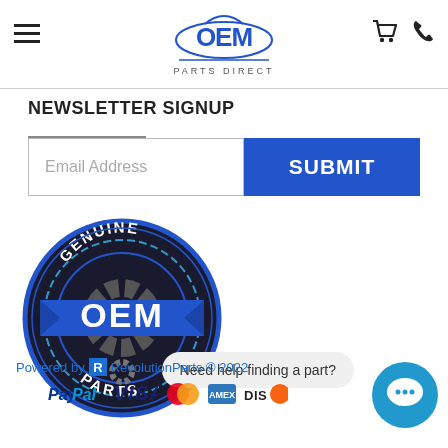OEM Parts Direct — navigation header with logo, hamburger menu, cart and phone icons
NEWSLETTER SIGNUP
Email Address [input field] SUBMIT [button]
[Figure (logo): Circular badge logo with dark background, gear motif, blue banner with text OEM, arc text GENUINE on top and PARTS on bottom]
Need help finding a part?
Powered by RevolutionParts © 2022 — PayPal, VISA, Mastercard, AmEx, Discover payment icons